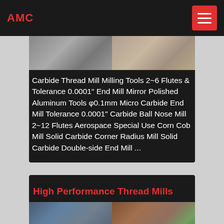AMC
Carbide Thread Mill Milling Tools 2~6 Flutes & Tolerance 0.0001" End Mill Mirror Polished Aluminum Tools φ0.1mm Micro Carbide End Mill Tolerance 0.0001" Carbide Ball Nose Mill 2~12 Flutes Aerospace Special Use Corn Cob Mill Solid Carbide Corner Radius Mill Solid Carbide Double-side End Mill ...
High Performance Thread Mills
[Figure (photo): Industrial mining or processing equipment site photo showing two side-by-side images of outdoor machinery and structures]